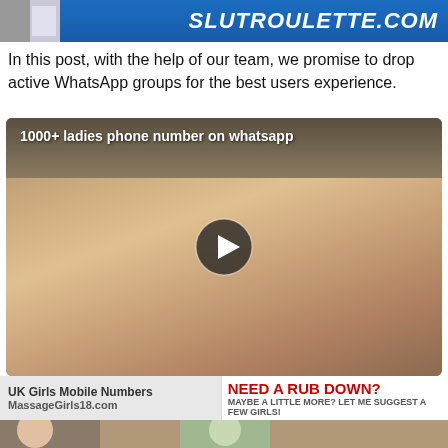[Figure (advertisement): Blue banner ad for SLUTROULETTE.COM with thumbnail on the left]
In this post, with the help of our team, we promise to drop active WhatsApp groups for the best users experience.
[Figure (screenshot): Video thumbnail with label '1000+ ladies phone number on whatsapp' and a play button overlay]
Try to chat the below girl whatsapp number and find your perfect friend.
[Figure (advertisement): Overlapping ads: 'UK Girls Mobile Numbers' on massagegirls.com and 'NEED A RUB DOWN? MAYBE A LITTLE MORE? LET ME SUGGEST A FEW GIRLS!']
[Figure (photo): Bottom strip showing women's photo]